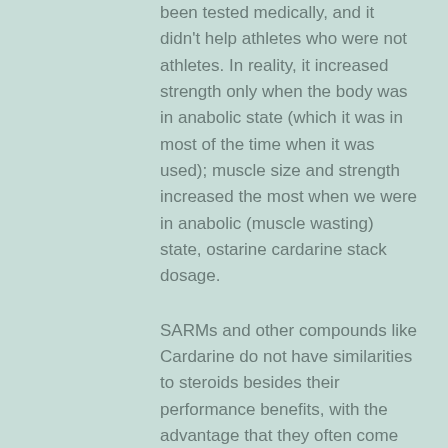been tested medically, and it didn't help athletes who were not athletes. In reality, it increased strength only when the body was in anabolic state (which it was in most of the time when it was used); muscle size and strength increased the most when we were in anabolic (muscle wasting) state, ostarine cardarine stack dosage.
SARMs and other compounds like Cardarine do not have similarities to steroids besides their performance benefits, with the advantage that they often come with little to no side effects. The body wants to preserve itself. While the body's production of steroid hormones can cause some health problems (especially when overused), its production of growth hormone is usually not problematic.
How does Cardarine Work?